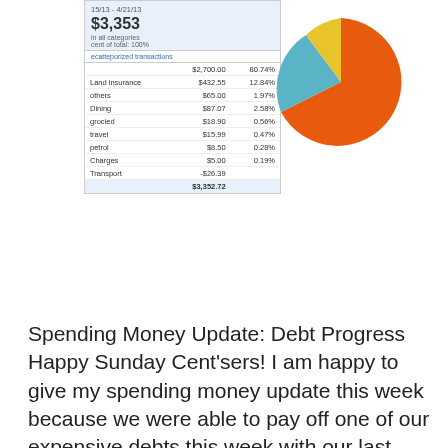[Figure (screenshot): Screenshot of a spending tracker showing date range 15/13 - 4/21/13, total $3,353 in all categories, 100% of total, with a pie chart (mostly orange with small yellow and teal slices) and a table listing categories: (unnamed) $2,700.00 80.74%, Land insurance $432.55 12.84%, Others $65.00 1.97%, Dining $87.07 2.58%, Grocied $18.90 0.56%, Travel $15.99 0.47%, Petrol $8.50 0.28%, Charges $5.00 0.19%, Transport -$26.39, Total $3,352.73]
Spending Money Update: Debt Progress Happy Sunday Cent'sers! I am happy to give my spending money update this week because we were able to pay off one of our expensive debts this week with our last payment of $2700.00! This is a great weight off my shoulders and I am now able to focus my energies towards some of my other debts. I also paid some ... [Read more...]